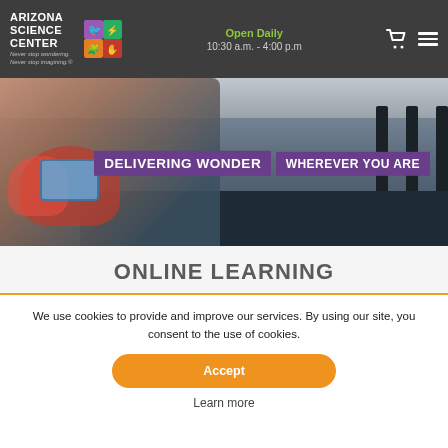ARIZONA SCIENCE CENTER — Never stop wondering. Never stop imagining. | Open Daily 10:30 a.m. - 4:00 p.m
[Figure (photo): Woman and child looking at a tablet device, seated in a large open space with dark columns. Text overlay reads DELIVERING WONDER WHEREVER YOU ARE in purple banner.]
ONLINE LEARNING
We use cookies to provide and improve our services. By using our site, you consent to the use of cookies.
Accept
Learn more